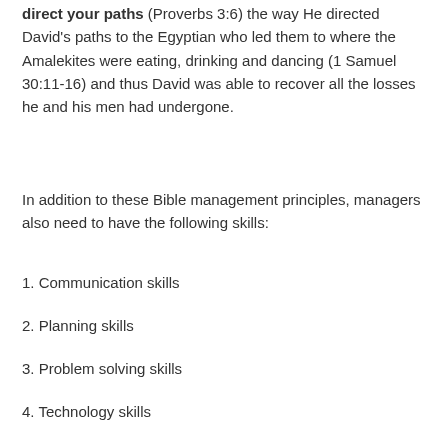direct your paths (Proverbs 3:6) the way He directed David's paths to the Egyptian who led them to where the Amalekites were eating, drinking and dancing (1 Samuel 30:11-16) and thus David was able to recover all the losses he and his men had undergone.
In addition to these Bible management principles, managers also need to have the following skills:
1. Communication skills
2. Planning skills
3. Problem solving skills
4. Technology skills